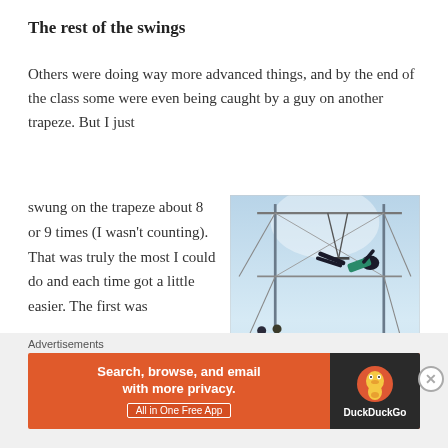The rest of the swings
Others were doing way more advanced things, and by the end of the class some were even being caught by a guy on another trapeze. But I just
swung on the trapeze about 8 or 9 times (I wasn't counting). That was truly the most I could do and each time got a little easier. The first was
[Figure (photo): Low-angle photo of a person performing on a flying trapeze rig, silhouetted against a bright blue sky. The trapeze frame and cables are visible, with a few people standing on a platform below.]
Advertisements
[Figure (screenshot): DuckDuckGo advertisement banner with orange background reading 'Search, browse, and email with more privacy. All in One Free App' with the DuckDuckGo duck logo on a dark background on the right side.]